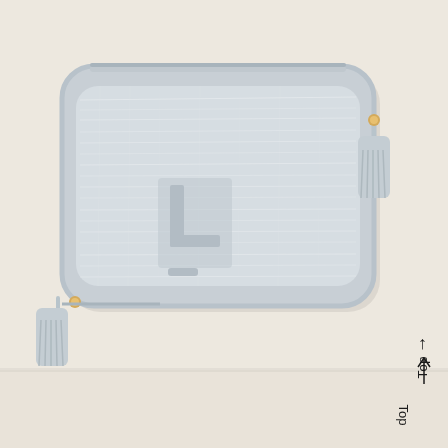[Figure (photo): A light grey fabric crossbody/camera bag with rounded rectangular shape, white linen-textured fabric face, a monogram letter 'L' patch on the front, gold zipper pulls with grey tassels on both sides (left bottom corner and right side), photographed on a warm beige/cream background. A directional arrow and the word 'Top' are shown in the lower right corner indicating product orientation.]